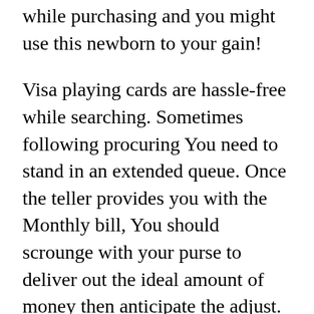while purchasing and you might use this newborn to your gain!
Visa playing cards are hassle-free while searching. Sometimes following procuring You need to stand in an extended queue. Once the teller provides you with the Monthly bill, You should scrounge with your purse to deliver out the ideal amount of money then anticipate the adjust. This might take a couple moments as well as persons in line behind it's possible you'll start to complain. This is a typical feature at thanksgiving gross sales and other these kinds of product sales. Having a visa card will...